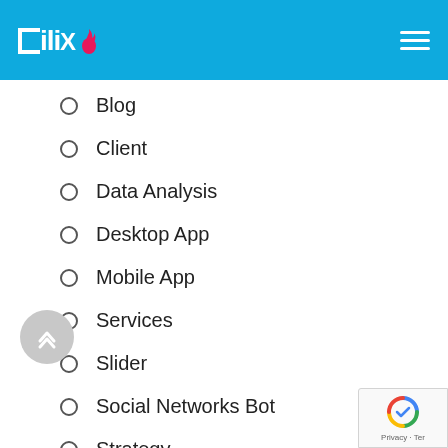CiliX
Blog
Client
Data Analysis
Desktop App
Mobile App
Services
Slider
Social Networks Bot
Strategy
Team
Web A…